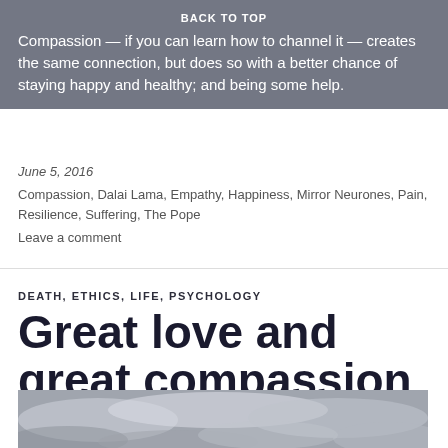Compassion — if you can learn how to channel it — creates the same connection, but does so with a better chance of staying happy and healthy; and being some help.
BACK TO TOP
June 5, 2016
Compassion, Dalai Lama, Empathy, Happiness, Mirror Neurones, Pain, Resilience, Suffering, The Pope
Leave a comment
DEATH, ETHICS, LIFE, PSYCHOLOGY
Great love and great compassion
[Figure (photo): Photograph of dramatic cloudy sky, black and white tones]